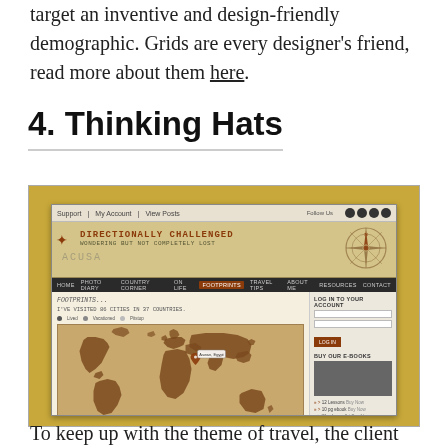target an inventive and design-friendly demographic. Grids are every designer's friend, read more about them here.
4. Thinking Hats
[Figure (screenshot): Screenshot of 'Directionally Challenged' website with a vintage travel theme, showing a compass rose header, world map, navigation bar, login sidebar, and e-books sidebar.]
To keep up with the theme of travel, the client